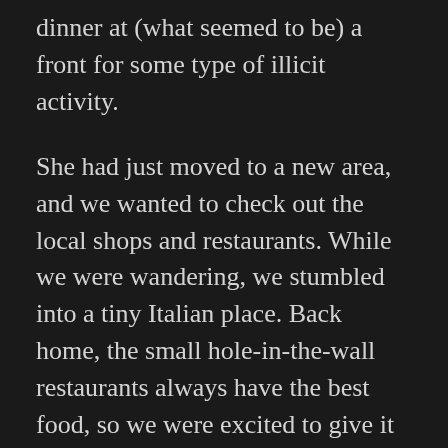dinner at (what seemed to be) a front for some type of illicit activity.
She had just moved to a new area, and we wanted to check out the local shops and restaurants. While we were wandering, we stumbled into a tiny Italian place. Back home, the small hole-in-the-wall restaurants always have the best food, so we were excited to give it a shot. Big curtains were covering the entry windows, so we had no idea what was inside until we trudged through the door.
Inside, we were met with emptiness and silence. We both immediately thought the place was closed, and I spun around and